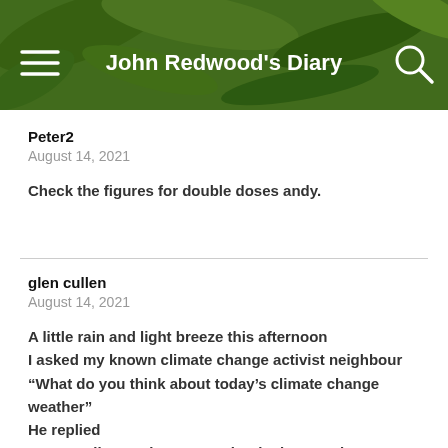John Redwood's Diary
Peter2
August 14, 2021
Check the figures for double doses andy.
glen cullen
August 14, 2021
A little rain and light breeze this afternoon
I asked my known climate change activist neighbour
“What do you think about today’s climate change weather”
He replied
‘‘Its not climate change weather it sh1t weather’’
I now have a little bit more respect for him